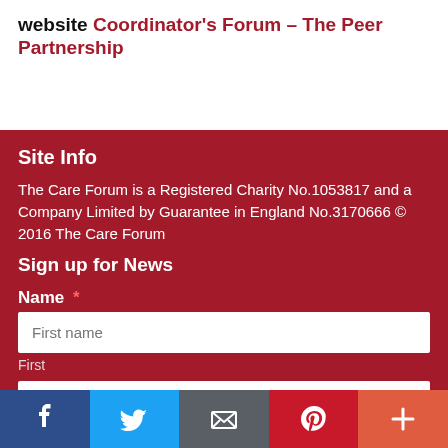website Coordinator's Forum – The Peer Partnership
Site Info
The Care Forum is a Registered Charity No.1053817 and a Company Limited by Guarantee in England No.3170666 © 2016 The Care Forum
Sign up for News
Name *
First name
First
Last name